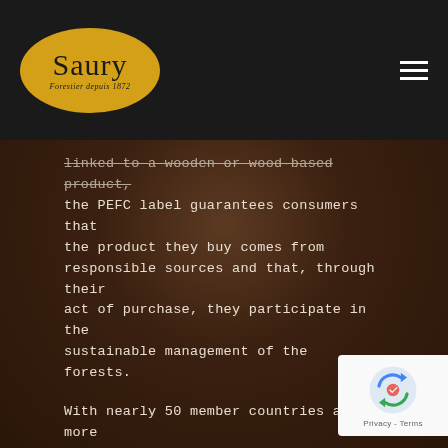Saury — Forestier depuis 1872
linked to a wooden or wood-based product, the PEFC label guarantees consumers that the product they buy comes from responsible sources and that, through their act of purchase, they participate in the sustainable management of the forests.
With nearly 50 member countries and more than 303 million hectares of certified forest, PEFC is the world leader in forest certification and the world's leading source of certified wood.
AS FORESTER
In France, 37 to 38 million m3 of wood are harvested on average every year, including nearly 20 million m3 of PEFC certified wood. PEFC allows to continue to produce wood while guaranteeing the renewal of the